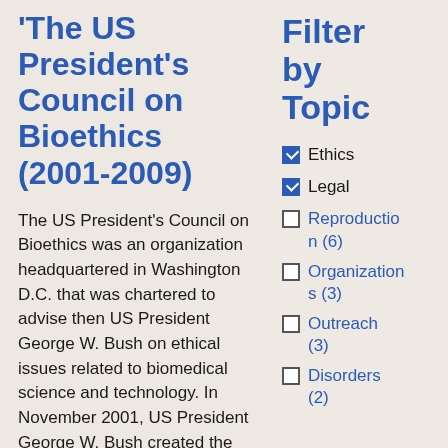'The US President's Council on Bioethics (2001-2009)
The US President's Council on Bioethics was an organization headquartered in Washington D.C. that was chartered to advise then US President George W. Bush on ethical issues related to biomedical science and technology. In November 2001, US President George W. Bush created the President's Council on Bioethics
Filter by Topic
Ethics (checked)
Legal (checked)
Reproduction (6)
Organizations (3)
Outreach (3)
Disorders (2)